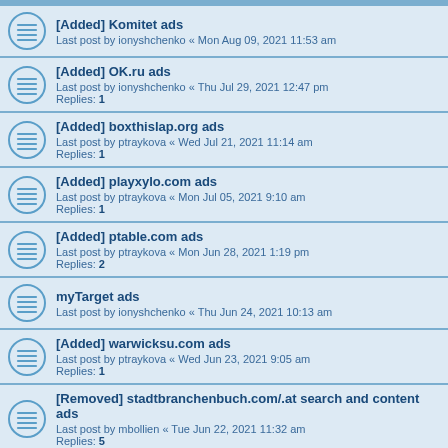[Added] Komitet ads
Last post by ionyshchenko « Mon Aug 09, 2021 11:53 am
[Added] OK.ru ads
Last post by ionyshchenko « Thu Jul 29, 2021 12:47 pm
Replies: 1
[Added] boxthislap.org ads
Last post by ptraykova « Wed Jul 21, 2021 11:14 am
Replies: 1
[Added] playxylo.com ads
Last post by ptraykova « Mon Jul 05, 2021 9:10 am
Replies: 1
[Added] ptable.com ads
Last post by ptraykova « Mon Jun 28, 2021 1:19 pm
Replies: 2
myTarget ads
Last post by ionyshchenko « Thu Jun 24, 2021 10:13 am
[Added] warwicksu.com ads
Last post by ptraykova « Wed Jun 23, 2021 9:05 am
Replies: 1
[Removed] stadtbranchenbuch.com/.at search and content ads
Last post by mbollien « Tue Jun 22, 2021 11:32 am
Replies: 5
[Added] devextent.com ads
Last post by ptraykova « Mon Jun 07, 2021 9:02 am
Replies: 1